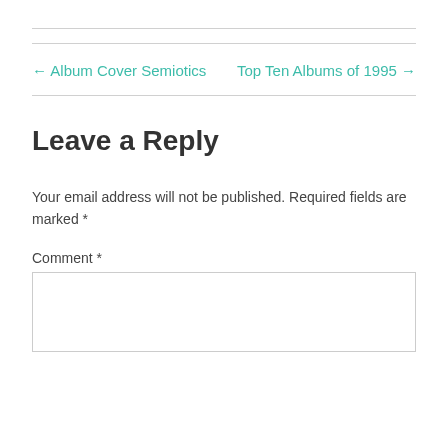← Album Cover Semiotics
Top Ten Albums of 1995 →
Leave a Reply
Your email address will not be published. Required fields are marked *
Comment *